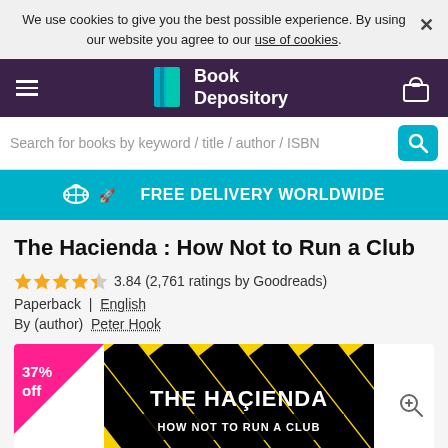We use cookies to give you the best possible experience. By using our website you agree to our use of cookies.
[Figure (screenshot): Book Depository website navigation bar with hamburger menu, logo (open book icon + 'Book Depository' text), and basket icon on dark purple background]
Search for books by keyword / title / author / ISBN
FREE DELIVERY WORLDWIDE
The Hacienda : How Not to Run a Club
3.84 (2,761 ratings by Goodreads)
Paperback  |  English
By (author)  Peter Hook
[Figure (photo): Book cover of 'The Hacienda: How Not to Run a Club' with black and yellow diagonal hazard stripes background, title text in white, with a 37% off discount badge in pink/magenta in the top-left corner]